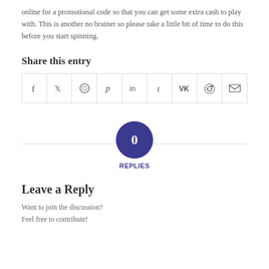online for a promotional code so that you can get some extra cash to play with. This is another no brainer so please take a little bit of time to do this before you start spinning.
Share this entry
[Figure (other): Social share buttons grid with icons: Facebook, Twitter, WhatsApp, Pinterest, LinkedIn, Tumblr, VK, Reddit, Email]
0 REPLIES
Leave a Reply
Want to join the discussion?
Feel free to contribute!